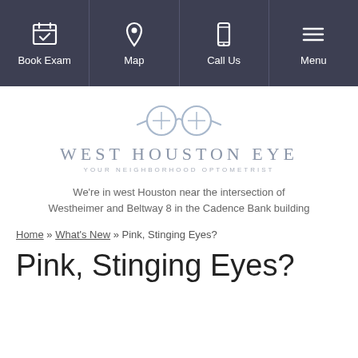[Figure (screenshot): Navigation bar with four items: Book Exam (calendar icon), Map (location pin icon), Call Us (phone icon), Menu (hamburger icon)]
[Figure (logo): West Houston Eye logo with glasses icon, text WEST HOUSTON EYE and tagline YOUR NEIGHBORHOOD OPTOMETRIST]
We're in west Houston near the intersection of Westheimer and Beltway 8 in the Cadence Bank building
Home » What's New » Pink, Stinging Eyes?
Pink, Stinging Eyes?